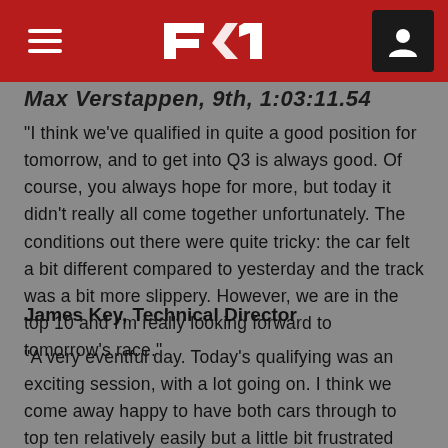F1 website header with navigation menu and user icon
Max Verstappen, 9th, 1:03:11.54
“I think we’ve qualified in quite a good position for tomorrow, and to get into Q3 is always good. Of course, you always hope for more, but today it didn’t really all come together unfortunately. The conditions out there were quite tricky: the car felt a bit different compared to yesterday and the track was a bit more slippery. However, we are in the top 10 and I’m really looking forward to tomorrow’s race.”
James Key, Technical Director
“A very eventful day. Today’s qualifying was an exciting session, with a lot going on. I think we come away happy to have both cars through to top ten relatively easily but a little bit frustrated that we didn’t really pull it together with the final runs in Q3. Both cars lost